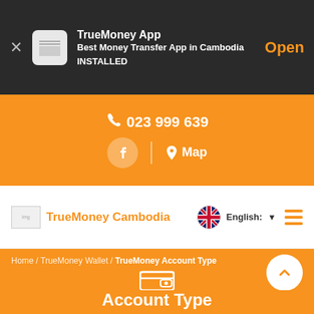TrueMoney App
Best Money Transfer App in Cambodia
INSTALLED
Open
023 999 639
Map
TrueMoney Cambodia
English:
Home / TrueMoney Wallet / TrueMoney Account Type
Account Type